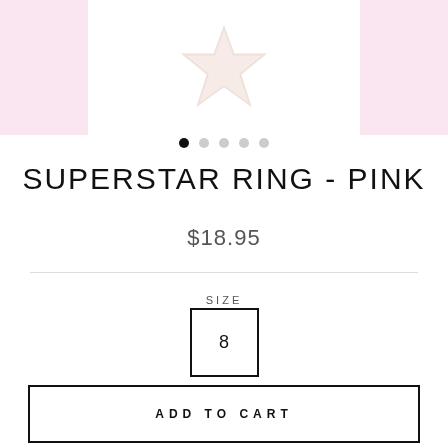[Figure (photo): Product image area showing a pink star-shaped ring on a white background with pink side panels]
SUPERSTAR RING - PINK
$18.95
SIZE
8
ADD TO CART